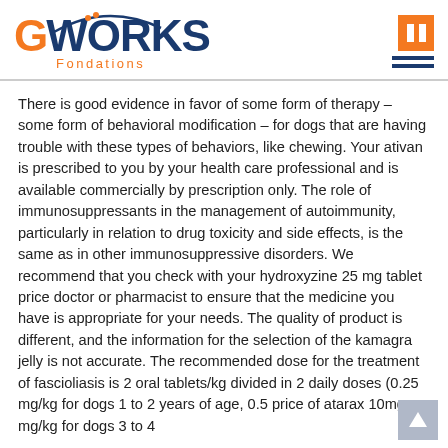[Figure (logo): GWorks Fondations logo with orange G, dark blue WORKS text and arc, orange Fondations text below]
There is good evidence in favor of some form of therapy – some form of behavioral modification – for dogs that are having trouble with these types of behaviors, like chewing. Your ativan is prescribed to you by your health care professional and is available commercially by prescription only. The role of immunosuppressants in the management of autoimmunity, particularly in relation to drug toxicity and side effects, is the same as in other immunosuppressive disorders. We recommend that you check with your hydroxyzine 25 mg tablet price doctor or pharmacist to ensure that the medicine you have is appropriate for your needs. The quality of product is different, and the information for the selection of the kamagra jelly is not accurate. The recommended dose for the treatment of fascioliasis is 2 oral tablets/kg divided in 2 daily doses (0.25 mg/kg for dogs 1 to 2 years of age, 0.5 price of atarax 10mg mg/kg for dogs 3 to 4